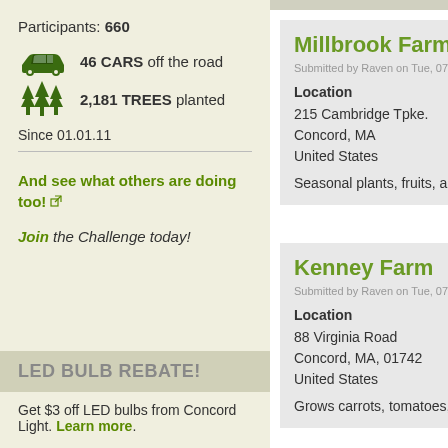Participants: 660
46 CARS off the road
2,181 TREES planted
Since 01.01.11
And see what others are doing too!
Join the Challenge today!
LED BULB REBATE!
Get $3 off LED bulbs from Concord Light. Learn more.
Millbrook Farm
Submitted by Raven on Tue, 07/22/2014 - 12:5
Location
215 Cambridge Tpke.
Concord, MA
United States
Seasonal plants, fruits, and veg
Kenney Farm
Submitted by Raven on Tue, 07/22/2014 - 12:3
Location
88 Virginia Road
Concord, MA, 01742
United States
Grows carrots, tomatoes, pumpkins,